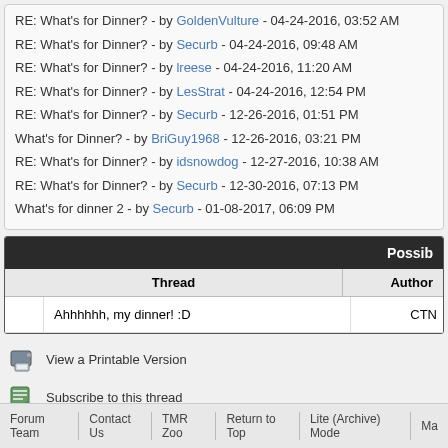RE: What's for Dinner? - by GoldenVulture - 04-24-2016, 03:52 AM
RE: What's for Dinner? - by Securb - 04-24-2016, 09:48 AM
RE: What's for Dinner? - by lreese - 04-24-2016, 11:20 AM
RE: What's for Dinner? - by LesStrat - 04-24-2016, 12:54 PM
RE: What's for Dinner? - by Securb - 12-26-2016, 01:51 PM
What's for Dinner? - by BriGuy1968 - 12-26-2016, 03:21 PM
RE: What's for Dinner? - by idsnowdog - 12-27-2016, 10:38 AM
RE: What's for Dinner? - by Securb - 12-30-2016, 07:13 PM
What's for dinner 2 - by Securb - 01-08-2017, 06:09 PM
| Thread | Author |
| --- | --- |
| Ahhhhhh, my dinner! :D | CTN |
View a Printable Version
Subscribe to this thread
Users browsing this thread: 10 Guest(s)
Forum Team   Contact Us   TMR Zoo   Return to Top   Lite (Archive) Mode   Ma